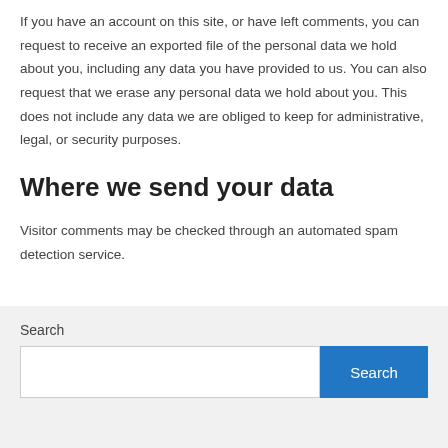If you have an account on this site, or have left comments, you can request to receive an exported file of the personal data we hold about you, including any data you have provided to us. You can also request that we erase any personal data we hold about you. This does not include any data we are obliged to keep for administrative, legal, or security purposes.
Where we send your data
Visitor comments may be checked through an automated spam detection service.
Search